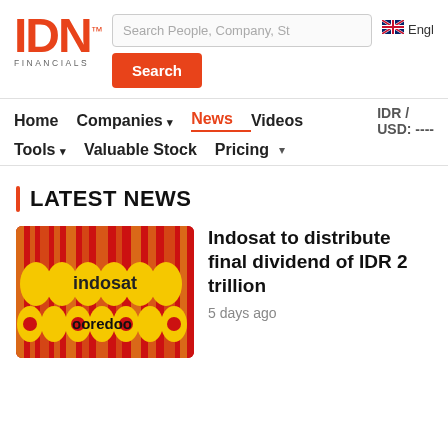[Figure (logo): IDN Financials logo in orange with trademark symbol and FINANCIALS text below]
Search People, Company, St
Search
[Figure (illustration): UK flag icon]
Engl
Home   Companies ▾   News   Videos   IDR / USD: ----   Tools ▾   Valuable Stock   Pricing   ▾
LATEST NEWS
[Figure (photo): Indosat Ooredoo logo on red and yellow background]
Indosat to distribute final dividend of IDR 2 trillion
5 days ago